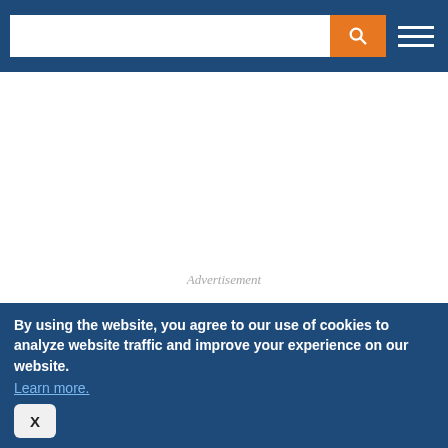[Figure (screenshot): Navigation bar with search input, orange search button with magnifying glass icon, and white hamburger menu icon on dark blue background]
Advertisement
Advertisement
TRENDING LEGAL ANALYSIS
Russia's Invasion of Ukraine: Maximizing Insurance Coverage to Mitigate Financial...
By using the website, you agree to our use of cookies to analyze website traffic and improve your experience on our website.
Learn more.
X